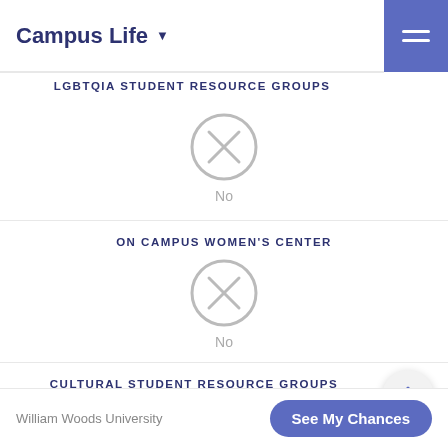Campus Life ▼
LGBTQIA STUDENT RESOURCE GROUPS
[Figure (other): Circle with X icon indicating No]
No
ON CAMPUS WOMEN'S CENTER
[Figure (other): Circle with X icon indicating No]
No
CULTURAL STUDENT RESOURCE GROUPS
[Figure (other): Circle with X icon (partially visible)]
William Woods University  See My Chances